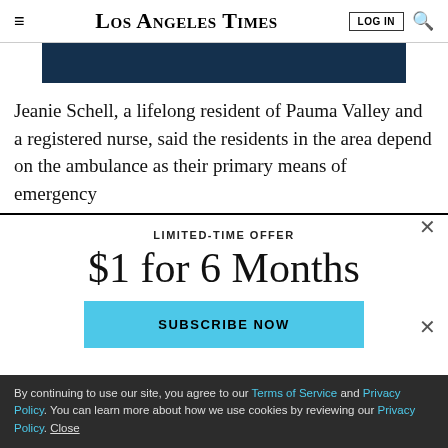Los Angeles Times
[Figure (other): Dark navy blue advertisement banner]
Jeanie Schell, a lifelong resident of Pauma Valley and a registered nurse, said the residents in the area depend on the ambulance as their primary means of emergency
LIMITED-TIME OFFER
$1 for 6 Months
SUBSCRIBE NOW
By continuing to use our site, you agree to our Terms of Service and Privacy Policy. You can learn more about how we use cookies by reviewing our Privacy Policy. Close